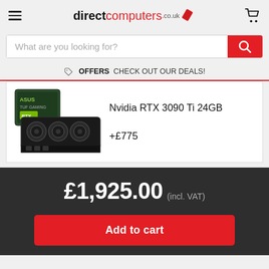direct computers .co.uk
What are you looking for?
OFFERS CHECK OUT OUR DEALS!
Nvidia RTX 3090 Ti 24GB
+£775
£1,925.00 (incl. VAT)
Add to cart